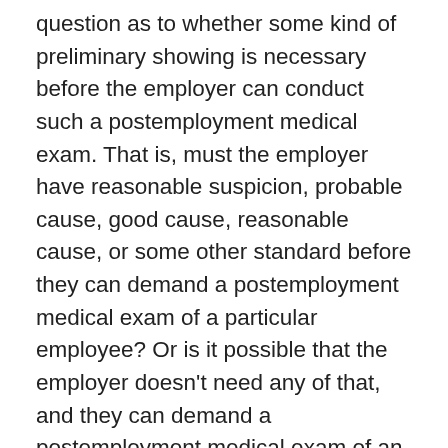question as to whether some kind of preliminary showing is necessary before the employer can conduct such a postemployment medical exam. That is, must the employer have reasonable suspicion, probable cause, good cause, reasonable cause, or some other standard before they can demand a postemployment medical exam of a particular employee? Or is it possible that the employer doesn't need any of that, and they can demand a postemployment medical exam of an employee regardless of whether they are on notice as to a potential problem. The Western District of Pennsylvania in EEOC v. United States Steel Corporation 2013 WL 625315 (W.D. Pennsylvania, February 20, 2013), was faced with this very question. In that case, probationary employees (employees that had worked under 1,040 hours), were subject to random drug